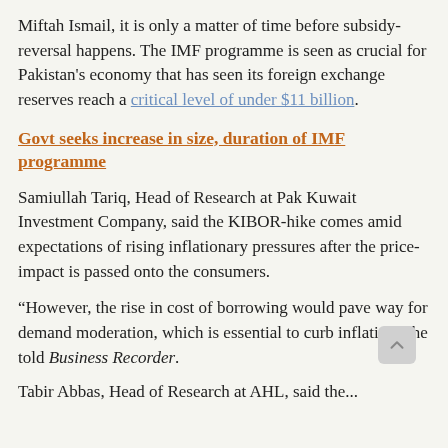Miftah Ismail, it is only a matter of time before subsidy-reversal happens. The IMF programme is seen as crucial for Pakistan's economy that has seen its foreign exchange reserves reach a critical level of under $11 billion.
Govt seeks increase in size, duration of IMF programme
Samiullah Tariq, Head of Research at Pak Kuwait Investment Company, said the KIBOR-hike comes amid expectations of rising inflationary pressures after the price-impact is passed onto the consumers.
“However, the rise in cost of borrowing would pave way for demand moderation, which is essential to curb inflation,” he told Business Recorder.
Tabir Abbas, Head of Research at AHL, said the...